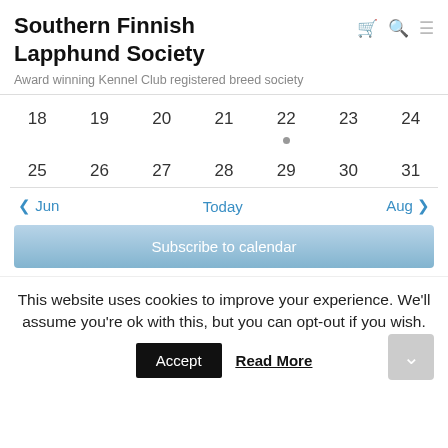Southern Finnish Lapphund Society
Award winning Kennel Club registered breed society
| 18 | 19 | 20 | 21 | 22 | 23 | 24 |
| 25 | 26 | 27 | 28 | 29 | 30 | 31 |
< Jun   Today   Aug >
Subscribe to calendar
This website uses cookies to improve your experience. We'll assume you're ok with this, but you can opt-out if you wish.
Accept   Read More